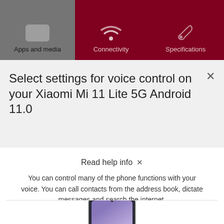[Figure (screenshot): Navigation tabs: Apps and media (grey tab, left), Connectivity and Specifications (dark red tabs, right) with icons above each]
Select settings for voice control on your Xiaomi Mi 11 Lite 5G Android 11.0
Read help info
You can control many of the phone functions with your voice. You can call contacts from the address book, dictate messages and search the internet.
[Figure (photo): Bottom portion of a Xiaomi Mi 11 Lite 5G phone showing the top of the device with camera cutout and screen with purple/blue gradient wallpaper]